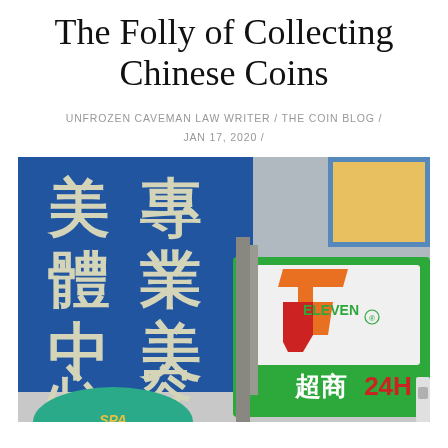The Folly of Collecting Chinese Coins
UNFROZEN CAVEMAN LAW WRITER / THE COIN BLOG /
JAN 17, 2020 /
[Figure (photo): Street scene in Taiwan showing a blue sign with Chinese characters (美體中心, 專業美容) and a 7-ELEVEN store sign with text 超商 24H]